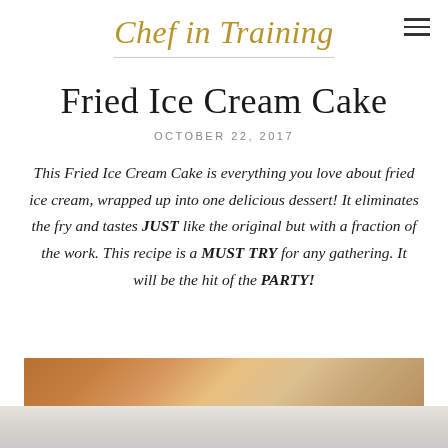Chef in Training
Fried Ice Cream Cake
OCTOBER 22, 2017
This Fried Ice Cream Cake is everything you love about fried ice cream, wrapped up into one delicious dessert! It eliminates the fry and tastes JUST like the original but with a fraction of the work. This recipe is a MUST TRY for any gathering. It will be the hit of the PARTY!
[Figure (photo): Photo of Fried Ice Cream Cake, partially visible at bottom of page]